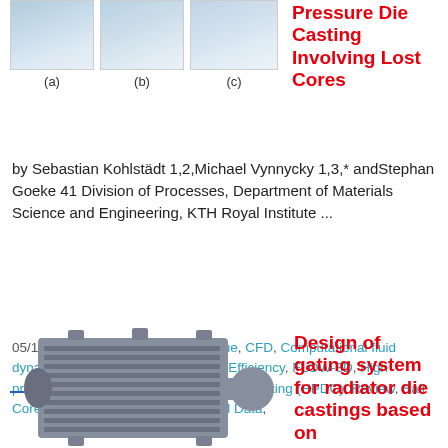[Figure (photo): Three simulation images (a), (b), (c) showing pressure die casting with lost cores — blue/light gradient fluid flow visualizations in rectangular frames]
(a)     (b)     (c)
Pressure Die Casting Involving Lost Cores
by Sebastian Kohlstädt 1,2,Michael Vynnycky 1,3,* andStephan Goeke 41 Division of Processes, Department of Materials Science and Engineering, KTH Royal Institute ...
Read More
05/11/2022 / CAD, Casting Technique, CFD, Computational fluid dynamics (CFD), Die casting, Draft, Efficiency, FLOW-3D, High pressure die casting, High pressure die casting (HPDC), Review, Salt Core, Salt Core, Segment, Technical Data,
[Figure (photo): 3D CAD model of a radiator die casting with gating system — gray component with fins and runner/sprue shown from top view, arrow indicating flow direction]
Design of gating system for radiator die castings based on